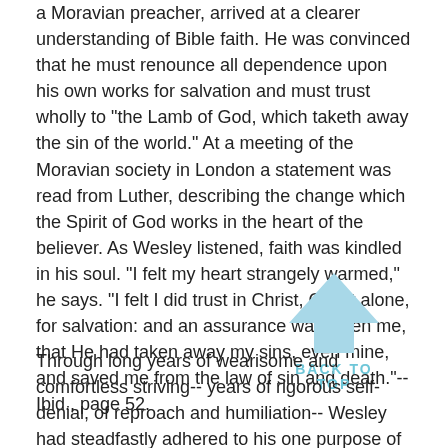a Moravian preacher, arrived at a clearer understanding of Bible faith. He was convinced that he must renounce all dependence upon his own works for salvation and must trust wholly to "the Lamb of God, which taketh away the sin of the world." At a meeting of the Moravian society in London a statement was read from Luther, describing the change which the Spirit of God works in the heart of the believer. As Wesley listened, faith was kindled in his soul. "I felt my heart strangely warmed," he says. "I felt I did trust in Christ, Christ alone, for salvation: and an assurance was given me, that He had taken away my sins, even mine, and saved me from the law of sin and death."-- Ibid., page 52.
[Figure (other): Light blue upward-pointing arrow with 'BACK TO TOP' text below it, serving as a navigation element]
Through long years of wearisome and comfortless striving-- years of rigorous self-denial, of reproach and humiliation-- Wesley had steadfastly adhered to his one purpose of seeking God. Now he had found Him: and he